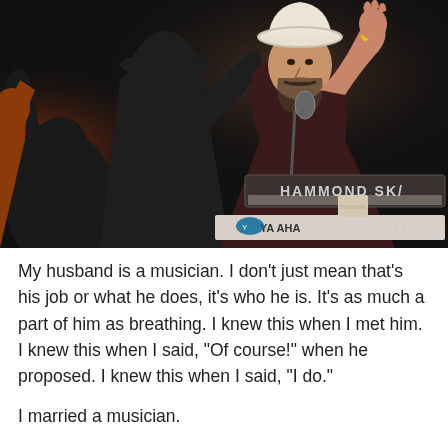[Figure (photo): A man wearing a white cowboy hat and dark shirt stands on stage, waving with one hand raised. He has a beard and a yellow wristband. A Hammond SK keyboard and a Yamaha keyboard are visible on stage. There are silhouettes of audience members in the background.]
My husband is a musician. I don't just mean that's his job or what he does, it's who he is. It's as much a part of him as breathing. I knew this when I met him. I knew this when I said, "Of course!" when he proposed. I knew this when I said, "I do."
I married a musician.